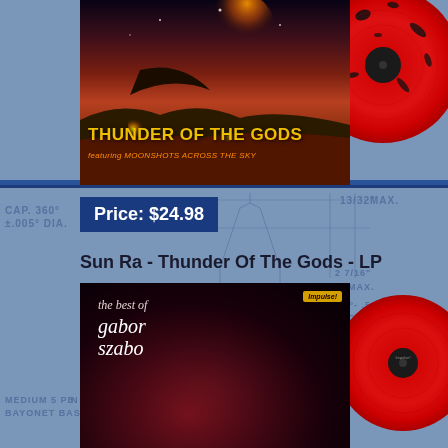[Figure (photo): Sun Ra Thunder Of The Gods album cover with red splatter vinyl record, showing a surreal Mars-like landscape with the album title in yellow text]
Price: $24.98
Sun Ra - Thunder Of The Gods - LP
[Figure (photo): The Best of Gabor Szabo album cover on Impulse label with red vinyl record, showing artist portrait on dark red background]